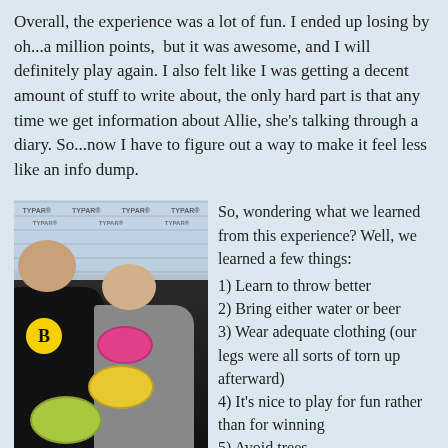Overall, the experience was a lot of fun. I ended up losing by oh...a million points, but it was awesome, and I will definitely play again. I also felt like I was getting a decent amount of stuff to write about, the only hard part is that any time we get information about Allie, she's talking through a diary. So...now I have to figure out a way to make it feel less like an info dump.
[Figure (photo): Two people outdoors holding disc golf frisbees (pink, yellow, green). Person on left wearing dark Boston Bruins hoodie with sunglasses. Person on right wearing gray shirt with sunglasses, smiling. Background shows building wrap/Tyvek material with 'TYPAR' printed repeatedly.]
So, wondering what we learned from this experience? Well, we learned a few things:
1) Learn to throw better
2) Bring either water or beer
3) Wear adequate clothing (our legs were all sorts of torn up afterward)
4) It's nice to play for fun rather than for winning
5) Avoid trees
Then for my birthday we went to a Tavern rather than a Pub